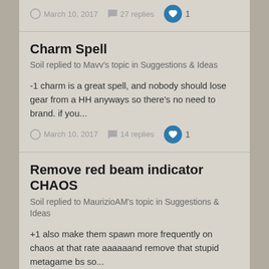March 10, 2017  27 replies  1
Charm Spell
Soil replied to Mavv's topic in Suggestions & Ideas
-1 charm is a great spell, and nobody should lose gear from a HH anyways so there's no need to brand. if you...
March 10, 2017  14 replies  1
Remove red beam indicator CHAOS
Soil replied to MaurizioAM's topic in Suggestions & Ideas
+1 also make them spawn more frequently on chaos at that rate aaaaaand remove that stupid metagame bs so...
March 10, 2017  3 replies  3